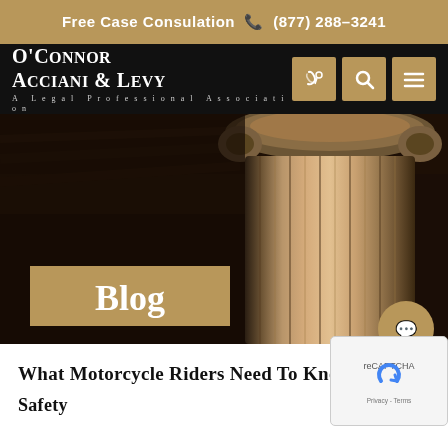Free Case Consulation ☎ (877) 288-3241
[Figure (logo): O'Connor Acciani & Levy — A Legal Professional Association logo in white on black background]
[Figure (photo): Dark architectural photo of classical stone column with ornate capital, dimly lit background, with golden 'Blog' label overlay]
What Motorcycle Riders Need To Kno
Safety